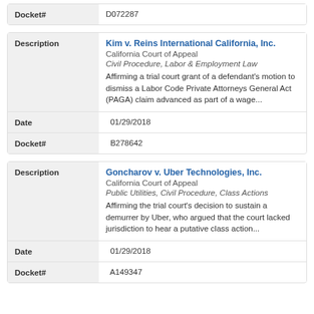| Field | Value |
| --- | --- |
| Docket# | D072287 |
| Field | Value |
| --- | --- |
| Description | Kim v. Reins International California, Inc.
California Court of Appeal
Civil Procedure, Labor & Employment Law
Affirming a trial court grant of a defendant's motion to dismiss a Labor Code Private Attorneys General Act (PAGA) claim advanced as part of a wage... |
| Date | 01/29/2018 |
| Docket# | B278642 |
| Field | Value |
| --- | --- |
| Description | Goncharov v. Uber Technologies, Inc.
California Court of Appeal
Public Utilities, Civil Procedure, Class Actions
Affirming the trial court's decision to sustain a demurrer by Uber, who argued that the court lacked jurisdiction to hear a putative class action... |
| Date | 01/29/2018 |
| Docket# | A149347 |